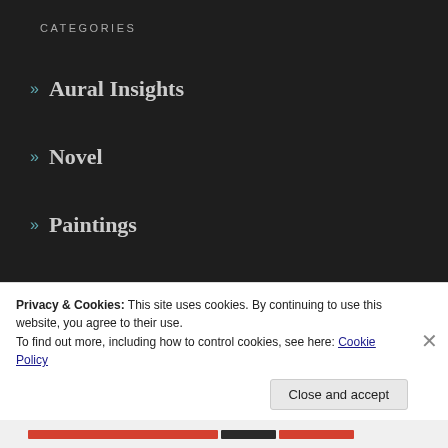CATEGORIES
» Aural Insights
» Novel
» Paintings
» Uncategorized
» Visual Stories
CATEGORY CLOUD
Aural Insights
Novel
Paintings
Uncategorized
Privacy & Cookies: This site uses cookies. By continuing to use this website, you agree to their use.
To find out more, including how to control cookies, see here: Cookie Policy
Close and accept